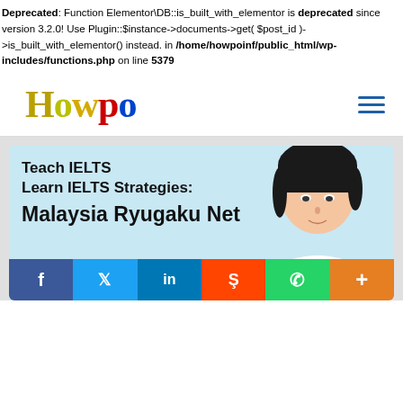Deprecated: Function Elementor\DB::is_built_with_elementor is deprecated since version 3.2.0! Use Plugin::$instance->documents->get( $post_id )->is_built_with_elementor() instead. in /home/howpoinf/public_html/wp-includes/functions.php on line 5379
[Figure (logo): Howpo website logo with colorful lettering and hamburger menu icon]
[Figure (illustration): Article card with text 'Teach IELTS / Learn IELTS Strategies: / Malaysia Ryugaku Net' and a photo of a person on the right, with social share buttons (Facebook, Twitter, LinkedIn, Reddit, WhatsApp, Plus) at the bottom]